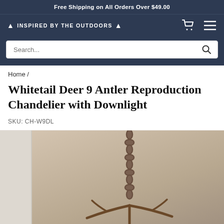Free Shipping on All Orders Over $49.00
🌲 INSPIRED BY THE OUTDOORS 🌲
Whitetail Deer 9 Antler Reproduction Chandelier with Downlight
SKU: CH-W9DL
Home /
[Figure (photo): Partial view of a Whitetail Deer Antler Reproduction Chandelier hanging from a metal chain against a beige/tan wall background. The chandelier features antler-shaped arms. Left side shows a thin thumbnail strip.]